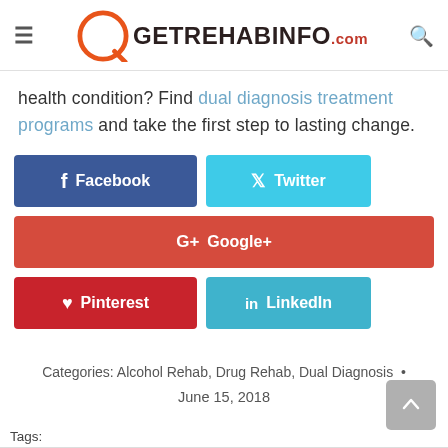GETREHABINFO.com
health condition? Find dual diagnosis treatment programs and take the first step to lasting change.
[Figure (other): Social sharing buttons: Facebook, Twitter, Google+, Pinterest, LinkedIn]
Categories: Alcohol Rehab, Drug Rehab, Dual Diagnosis • June 15, 2018
Tags: best dual diagnosis treatment centers | dual diagnosis treatment centers | what is a dual diagnosis